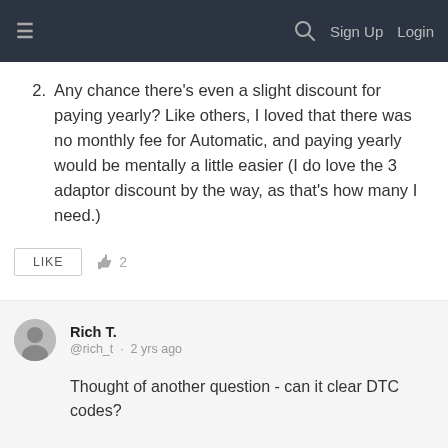≡  🔍  Sign Up  Login
2. Any chance there's even a slight discount for paying yearly? Like others, I loved that there was no monthly fee for Automatic, and paying yearly would be mentally a little easier (I do love the 3 adaptor discount by the way, as that's how many I need.)
LIKE   👍 2
Rich T.
@rich_t · 2 yrs ago

Thought of another question - can it clear DTC codes?